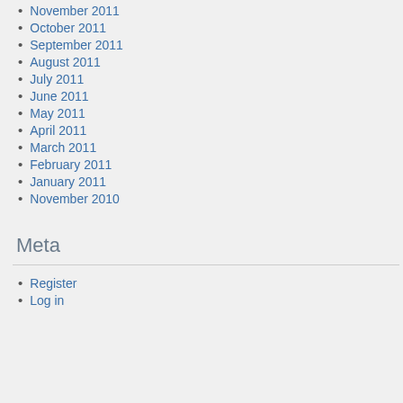November 2011
October 2011
September 2011
August 2011
July 2011
June 2011
May 2011
April 2011
March 2011
February 2011
January 2011
November 2010
Meta
Register
Log in